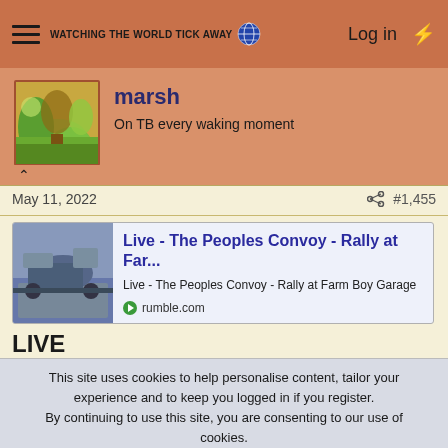WATCHING THE WORLD TICK AWAY | Log in
marsh
On TB every waking moment
May 11, 2022   #1,455
[Figure (screenshot): Embedded link card for 'Live - The Peoples Convoy - Rally at Far...' with thumbnail of a truck, subtitle 'Live - The Peoples Convoy - Rally at Farm Boy Garage', and rumble.com source link]
LIVE
This site uses cookies to help personalise content, tailor your experience and to keep you logged in if you register.
By continuing to use this site, you are consenting to our use of cookies.